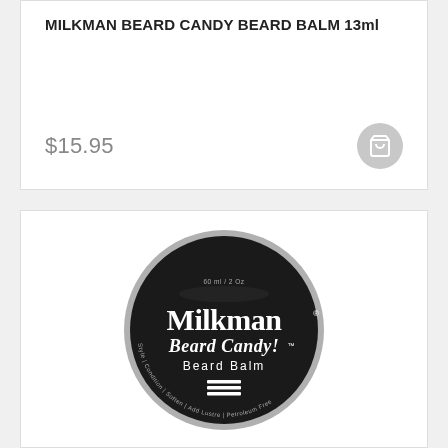MILKMAN BEARD CANDY BEARD BALM 13ml
$15.95
[Figure (photo): Round black tin of Milkman Beard Candy Beard Balm, 60ml/2oz, with white Milkman logo and 'Beard Candy! Beard Balm' text, showing Style | Condition | Soften | Add Lustre | Petroleum Free label around the bottom edge]